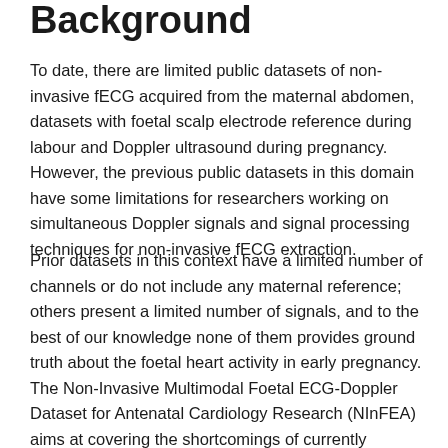Background
To date, there are limited public datasets of non-invasive fECG acquired from the maternal abdomen, datasets with foetal scalp electrode reference during labour and Doppler ultrasound during pregnancy.  However, the previous public datasets in this domain have some limitations for researchers working on simultaneous Doppler signals and signal processing techniques for non-invasive fECG extraction.
Prior datasets in this context have a limited number of channels or do not include any maternal reference; others present a limited number of signals, and to the best of our knowledge none of them provides ground truth about the foetal heart activity in early pregnancy. The Non-Invasive Multimodal Foetal ECG-Doppler Dataset for Antenatal Cardiology Research (NInFEA) aims at covering the shortcomings of currently available datasets and satisfying the aforementioned features, specifically for research